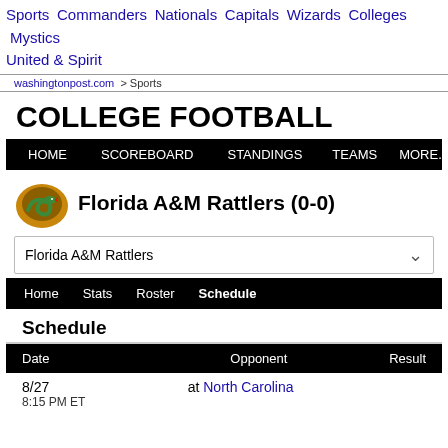Sports Commanders Nationals Capitals Wizards Colleges Mystics United & Spirit
washingtonpost.com > Sports
COLLEGE FOOTBALL
HOME  SCOREBOARD  STANDINGS  TEAMS  MORE...
Florida A&M Rattlers (0-0)
Florida A&M Rattlers
Home  Stats  Roster  Schedule
Schedule
| Date | Opponent | Result |
| --- | --- | --- |
| 8/27
8:15 PM ET | at North Carolina |  |